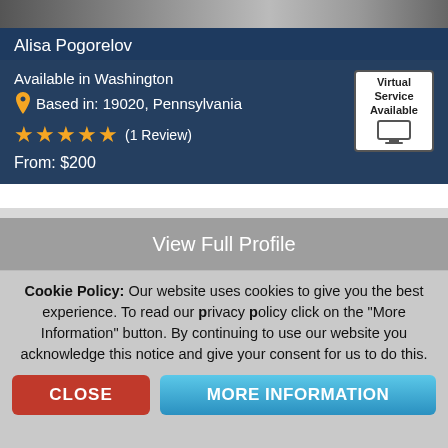[Figure (photo): Partial photo of Alisa Pogorelov at the top of the profile card]
Alisa Pogorelov
Available in Washington
Based in: 19020, Pennsylvania
★★★★★ (1 Review)
From: $200
Virtual Service Available
My name is Alisa Pogorelov am a singer/actress/print model.... (more)
View Full Profile
Cookie Policy: Our website uses cookies to give you the best experience. To read our privacy policy click on the "More Information" button. By continuing to use our website you acknowledge this notice and give your consent for us to do this.
CLOSE
MORE INFORMATION